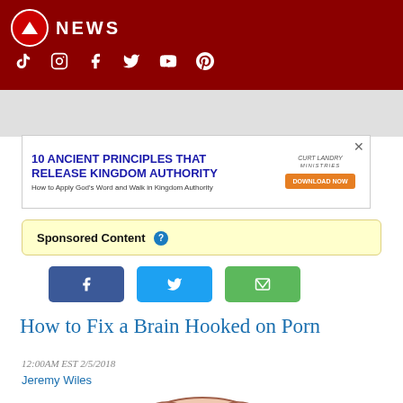NEWS
[Figure (screenshot): Social media icons row: TikTok, Instagram, Facebook, Twitter, YouTube, Pinterest on dark red background]
[Figure (screenshot): Advertisement banner: '10 ANCIENT PRINCIPLES THAT RELEASE KINGDOM AUTHORITY - How to Apply God's Word and Walk in Kingdom Authority - DOWNLOAD NOW' with Curt Landry Ministries branding]
Sponsored Content ?
[Figure (screenshot): Share buttons: Facebook (blue), Twitter (light blue), Email (green)]
How to Fix a Brain Hooked on Porn
12:00AM EST 2/5/2018
Jeremy Wiles
[Figure (illustration): Illustration of a human brain, pink/peach colored with detailed folds, viewed from the side]